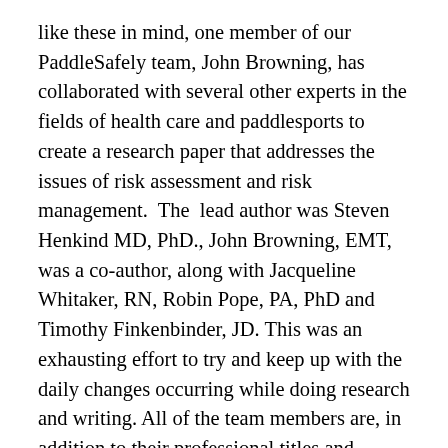like these in mind, one member of our PaddleSafely team, John Browning, has collaborated with several other experts in the fields of health care and paddlesports to create a research paper that addresses the issues of risk assessment and risk management.  The  lead author was Steven Henkind MD, PhD., John Browning, EMT, was a co-author, along with Jacqueline Whitaker, RN, Robin Pope, PA, PhD and Timothy Finkenbinder, JD. This was an exhausting effort to try and keep up with the  daily changes occurring while doing research and writing. All of the team members are, in addition to their professional titles and degrees, active in the ACA, and are at various levels, instructors in the ACA. Nice job Dr. Henkind, and all the co-authors! This research paper has been linked on a new page of this website devoted to information on COVID-19 as it relates to kayaking and paddlesports.  You can find the page listed below the “Resources & Links”